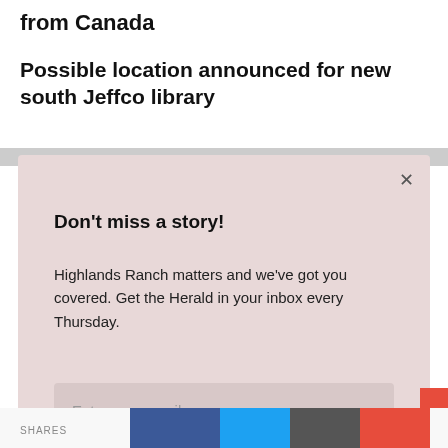from Canada
Possible location announced for new south Jeffco library
[Figure (screenshot): Newsletter signup modal overlay with 'Don't miss a story!' heading, description text, email input field, and Sign up button on a pink/mauve background]
SHARES